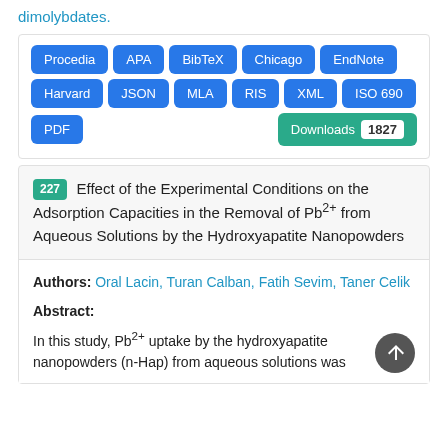dimolybdates.
Procedia
APA
BibTeX
Chicago
EndNote
Harvard
JSON
MLA
RIS
XML
ISO 690
PDF
Downloads 1827
227 Effect of the Experimental Conditions on the Adsorption Capacities in the Removal of Pb2+ from Aqueous Solutions by the Hydroxyapatite Nanopowders
Authors: Oral Lacin, Turan Calban, Fatih Sevim, Taner Celik
Abstract:
In this study, Pb2+ uptake by the hydroxyapatite nanopowders (n-Hap) from aqueous solutions was